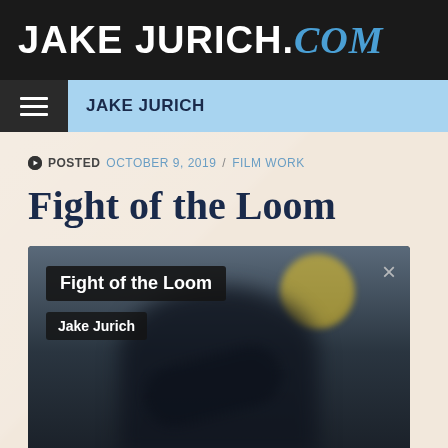JAKE JURICH.com
JAKE JURICH
POSTED OCTOBER 9, 2019 / FILM WORK
Fight of the Loom
[Figure (screenshot): Video embed showing 'Fight of the Loom' by Jake Jurich with dark overlay, title badge, author badge, a blurred figure and yellow cartoon element in background, and a close (×) button in the top right.]